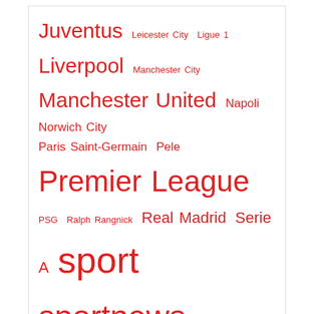Juventus  Leicester City  Ligue 1  Liverpool  Manchester City  Manchester United  Napoli  Norwich City  Paris Saint-Germain  Pele  Premier League  PSG  Ralph Rangnick  Real Madrid  Serie A  sport  sportnews  sportonline  Spurs  Tottenham Hotspur  ufabet  Watford  West Ham
WINETRAILSNW.COM
COPYRIGHT 2021 UFABET999. ALL RIGHTS RESERVED.
ufabet
ยูฟ่าเบท
แทงบอล